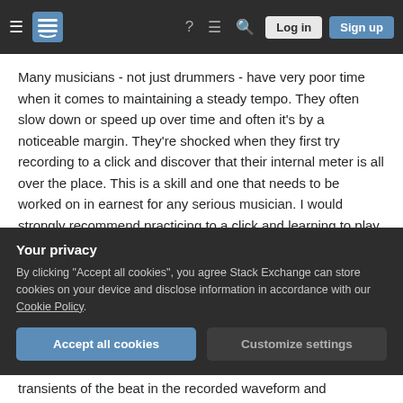Stack Exchange navigation bar with hamburger menu, logo, help, chat, search icons, Log in and Sign up buttons
Many musicians - not just drummers - have very poor time when it comes to maintaining a steady tempo. They often slow down or speed up over time and often it's by a noticeable margin. They're shocked when they first try recording to a click and discover that their internal meter is all over the place. This is a skill and one that needs to be worked on in earnest for any serious musician. I would strongly recommend practicing to a click and learning to play exactly on the beat. It's easy to know when you've achieved facility with this skill as
Your privacy
By clicking "Accept all cookies", you agree Stack Exchange can store cookies on your device and disclose information in accordance with our Cookie Policy.
transients of the beat in the recorded waveform and